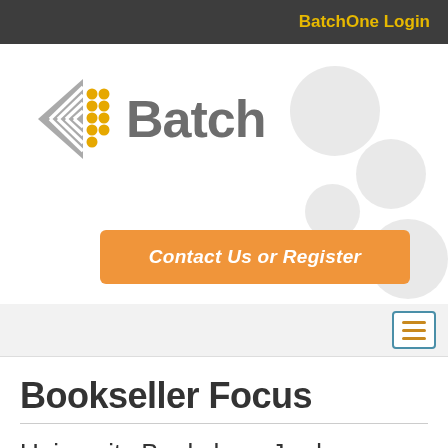BatchOne Login
[Figure (logo): Batch logo with grey arrow/chevron shape and yellow dots, followed by bold grey 'Batch' text]
[Figure (infographic): Orange button with italic bold white text: Contact Us or Register]
Bookseller Focus
University Bookshop, Jordan